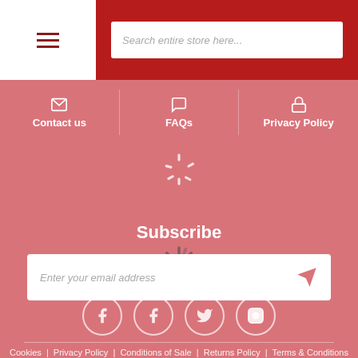Search entire store here...
Contact us | FAQs | Privacy Policy
Subscribe
Enter your email address
Cookies | Privacy Policy | Conditions of Sale | Returns Policy | Terms & Conditions
© 2022 Edwin Tucker & Sons Ltd. All Rights Reserved